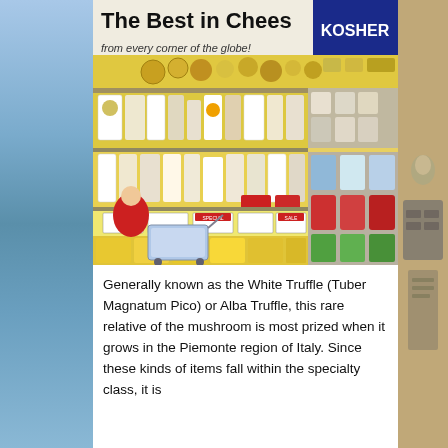[Figure (photo): A supermarket cheese display with large signage reading 'The Best in Cheese from every corner of the globe!' and a 'KOSHER' sign. Shelves are filled with various wrapped cheeses in yellow, white, and multicolored packaging. A person in a red jacket is visible in the lower left. The display includes price tags and is abundantly stocked.]
Generally known as the White Truffle (Tuber Magnatum Pico) or Alba Truffle, this rare relative of the mushroom is most prized when it grows in the Piemonte region of Italy. Since these kinds of items fall within the specialty class, it is